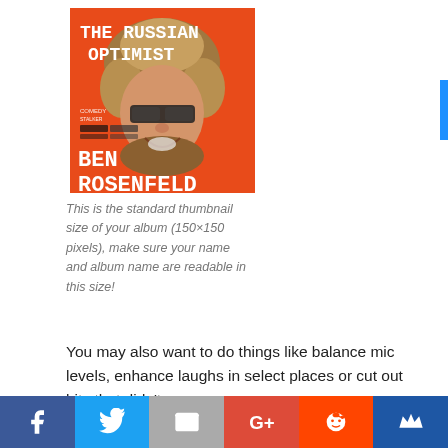[Figure (illustration): Album cover for 'The Russian Optimist' by Ben Rosenfeld. Orange background, man wearing fur hat and glasses, smiling. Comedy Stalker logo visible. Text reads THE RUSSIAN OPTIMIST and BEN ROSENFELD in white block letters.]
This is the standard thumbnail size of your album (150×150 pixels), make sure your name and album name are readable in this size!
You may also want to do things like balance mic levels, enhance laughs in select places or cut out bits that didn't